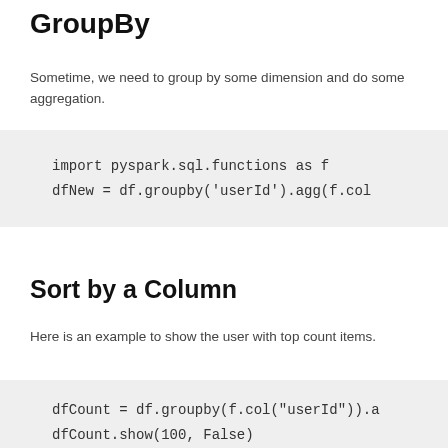GroupBy
Sometime, we need to group by some dimension and do some aggregation.
import pyspark.sql.functions as f
dfNew = df.groupby('userId').agg(f.col…
Sort by a Column
Here is an example to show the user with top count items.
dfCount = df.groupby(f.col("userId")).a…
dfCount.show(100, False)